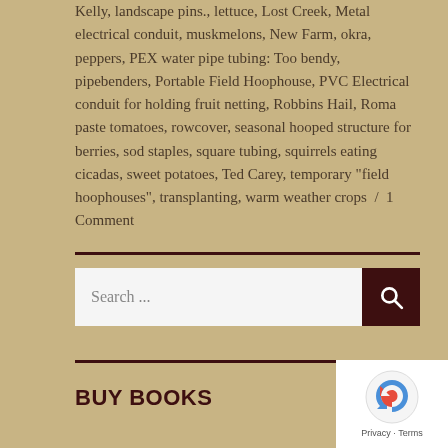Kelly, landscape pins., lettuce, Lost Creek, Metal electrical conduit, muskmelons, New Farm, okra, peppers, PEX water pipe tubing: Too bendy, pipebenders, Portable Field Hoophouse, PVC Electrical conduit for holding fruit netting, Robbins Hail, Roma paste tomatoes, rowcover, seasonal hooped structure for berries, sod staples, square tubing, squirrels eating cicadas, sweet potatoes, Ted Carey, temporary "field hoophouses", transplanting, warm weather crops / 1 Comment
Search ...
BUY BOOKS